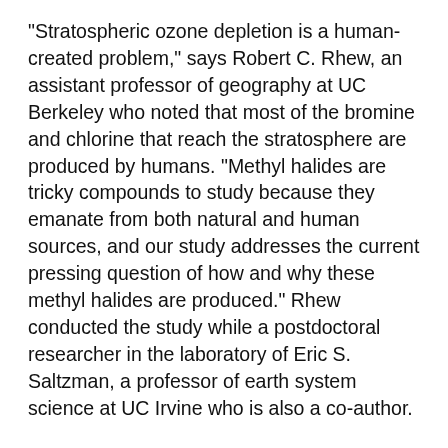"Stratospheric ozone depletion is a human-created problem," says Robert C. Rhew, an assistant professor of geography at UC Berkeley who noted that most of the bromine and chlorine that reach the stratosphere are produced by humans. "Methyl halides are tricky compounds to study because they emanate from both natural and human sources, and our study addresses the current pressing question of how and why these methyl halides are produced." Rhew conducted the study while a postdoctoral researcher in the laboratory of Eric S. Saltzman, a professor of earth system science at UC Irvine who is also a co-author.
"The take-home message of this study is that all plants probably have this gene," says Lars Østergaard, a postdoctoral researcher in the laboratory of Martin Yanofsky, a UCSD biology professor and a co-author. "Now we can determine more precisely the impact plants have on the production of methyl halides and whether it might be appropriate or feasible to engineer crops to minimize the